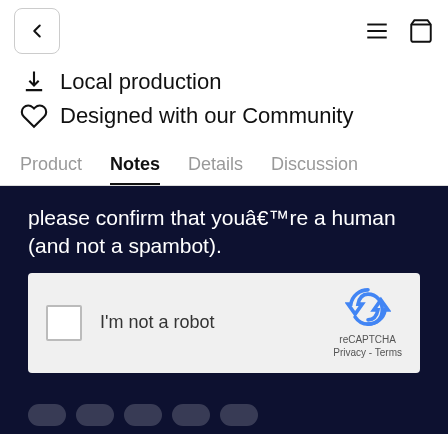← (back) ≡ (menu) (bag)
⇓ Local production
♡ Designed with our Community
Product  Notes  Details  Discussion
[Figure (screenshot): Screenshot of a CAPTCHA verification dialog on a dark navy background. Text reads: 'please confirm that youâ€™re a human (and not a spambot).' Below is a reCAPTCHA widget with a checkbox labeled 'I'm not a robot' and the Google reCAPTCHA logo with Privacy and Terms links.]